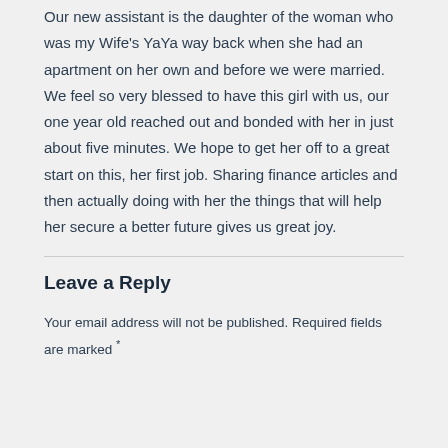Our new assistant is the daughter of the woman who was my Wife's YaYa way back when she had an apartment on her own and before we were married. We feel so very blessed to have this girl with us, our one year old reached out and bonded with her in just about five minutes. We hope to get her off to a great start on this, her first job. Sharing finance articles and then actually doing with her the things that will help her secure a better future gives us great joy.
Leave a Reply
Your email address will not be published. Required fields are marked *